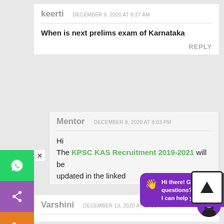keerti   DECEMBER 9, 2020 AT 8:27 AM
When is next prelims exam of Karnataka
REPLY
Mentor   DECEMBER 9, 2020 AT 8:03 PM
Hi
The KPSC KAS Recruitment 2019-2021 will be updated in the linked
Hi there! Got any questions? I can help you...
Varshini   DECEMBER 13, 2020 AT 10:15 AM